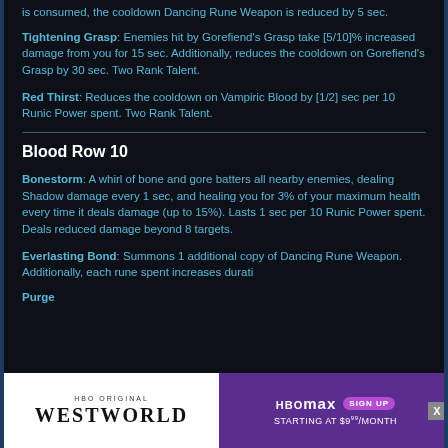is consumed, the cooldown Dancing Rune Weapon is reduced by 5 sec.
Tightening Grasp: Enemies hit by Gorefiend's Grasp take [5/10]% increased damage from you for 15 sec. Additionally, reduces the cooldown on Gorefiend's Grasp by 30 sec. Two Rank Talent.
Red Thirst: Reduces the cooldown on Vampiric Blood by [1/2] sec per 10 Runic Power spent. Two Rank Talent.
Blood Row 10
Bonestorm: A whirl of bone and gore batters all nearby enemies, dealing Shadow damage every 1 sec, and healing you for 3% of your maximum health every time it deals damage (up to 15%). Lasts 1 sec per 10 Runic Power spent. Deals reduced damage beyond 8 targets.
Everlasting Bond: Summons 1 additional copy of Dancing Rune Weapon. Additionally, each rune spent increases durati
Purge
[Figure (advertisement): HBO Max advertisement showing Westworld logo on white background on left, and HBO Max sign up starting at $9.99/month on purple background on right]